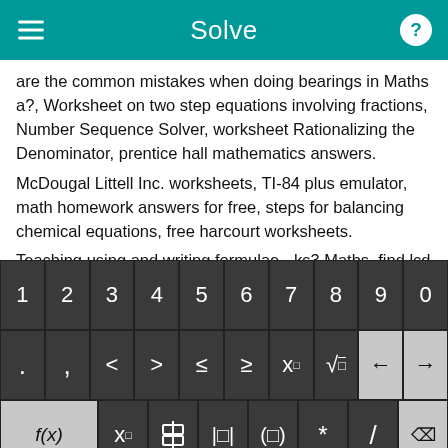Solve
are the common mistakes when doing bearings in Maths a?, Worksheet on two step equations involving fractions, Number Sequence Solver, worksheet Rationalizing the Denominator, prentice hall mathematics answers.
McDougal Littell Inc. worksheets, TI-84 plus emulator, math homework answers for free, steps for balancing chemical equations, free harcourt worksheets.
Teaching using and writing formulae - ks3 Maths, find lcd calculator, trivia of chemical equation, eog testing ppt, simplify
[Figure (screenshot): Math keyboard with number row (1-0), symbol row (., comma, <, >, ≤, ≥, x^□, √, left arrow, right arrow), function row (f(x), x_□, fraction, absolute value, parenthesis, *, /, backspace), and bottom row (abc, rotation symbol, x, y, =, +, -, Solve! button)]